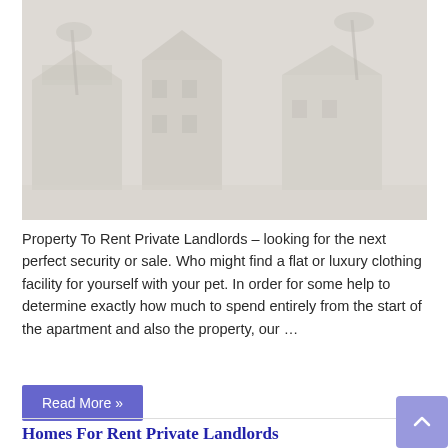[Figure (photo): Faded/washed-out photograph of residential houses or properties, very light grayish-beige tones showing building facades and palm trees]
Property To Rent Private Landlords – looking for the next perfect security or sale. Who might find a flat or luxury clothing facility for yourself with your pet. In order for some help to determine exactly how much to spend entirely from the start of the apartment and also the property, our …
Read More »
Homes For Rent Private Landlords